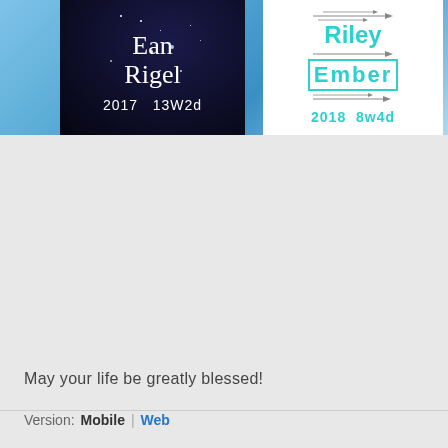[Figure (photo): A composite image showing two memorial cards side by side on a blue cloudy sky background. Left card: dark/starry background with cursive text 'Ean Rigel' and '2017  13W2d'. Right card: white background with teal arrow decorations, bold teal text 'Riley Ember' and '2018  8w4d'.]
May your life be greatly blessed!
Version:  Mobile | Web